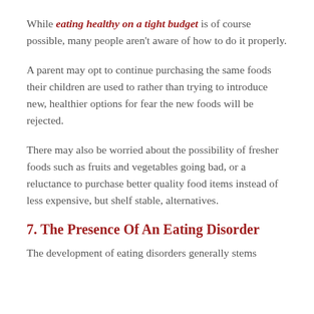While eating healthy on a tight budget is of course possible, many people aren't aware of how to do it properly.
A parent may opt to continue purchasing the same foods their children are used to rather than trying to introduce new, healthier options for fear the new foods will be rejected.
There may also be worried about the possibility of fresher foods such as fruits and vegetables going bad, or a reluctance to purchase better quality food items instead of less expensive, but shelf stable, alternatives.
7. The Presence Of An Eating Disorder
The development of eating disorders generally stems